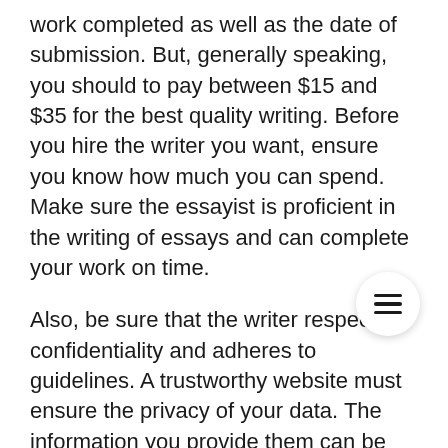work completed as well as the date of submission. But, generally speaking, you should to pay between $15 and $35 for the best quality writing. Before you hire the writer you want, ensure you know how much you can spend. Make sure the essayist is proficient in the writing of essays and can complete your work on time.
Also, be sure that the writer respects confidentiality and adheres to guidelines. A trustworthy website must ensure the privacy of your data. The information you provide them can be obtained, therefore it is important to be sure the website that you pick adheres to the strictest privacy policies.